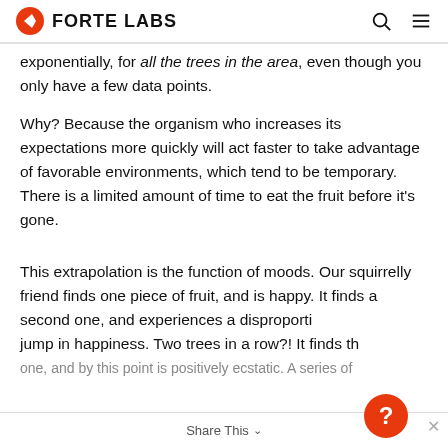FORTE LABS
exponentially, for all the trees in the area, even though you only have a few data points.
Why? Because the organism who increases its expectations more quickly will act faster to take advantage of favorable environments, which tend to be temporary. There is a limited amount of time to eat the fruit before it's gone.
This extrapolation is the function of moods. Our squirrelly friend finds one piece of fruit, and is happy. It finds a second one, and experiences a disproportionate jump in happiness. Two trees in a row?! It finds the one, and by this point is positively ecstatic. A series of